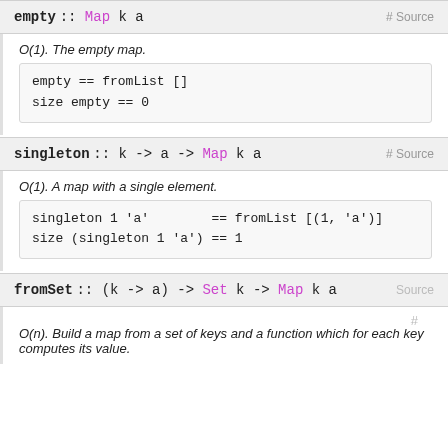empty :: Map k a  # Source
O(1). The empty map.
singleton :: k -> a -> Map k a  # Source
O(1). A map with a single element.
fromSet :: (k -> a) -> Set k -> Map k a  Source
O(n). Build a map from a set of keys and a function which for each key computes its value.